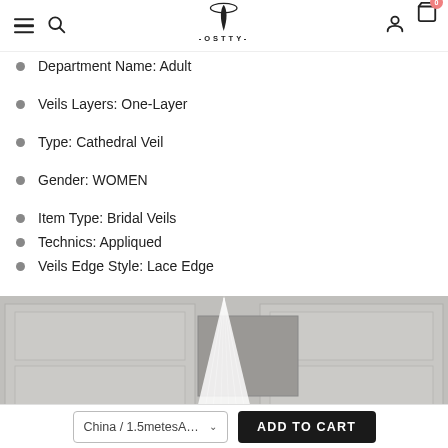OSTTY — navigation header with hamburger, search, logo, account, cart
Department Name: Adult
Veils Layers: One-Layer
Type: Cathedral Veil
Gender: WOMEN
Item Type: Bridal Veils
Technics: Appliqued
Veils Edge Style: Lace Edge
[Figure (photo): A wedding veil photographed from behind, white lace cathedral veil over a mannequin/person standing in front of a grey paneled wall.]
China / 1.5metesA… [dropdown] | ADD TO CART